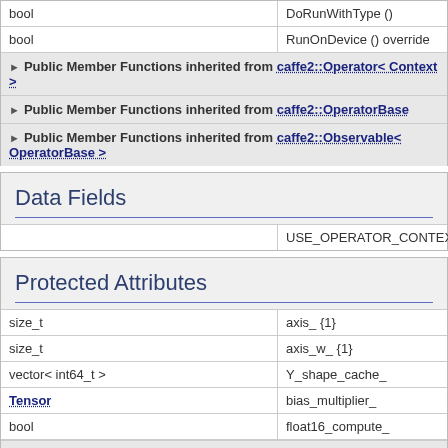| type | name |
| --- | --- |
| bool | DoRunWithType () |
| bool | RunOnDevice () override |
| ▶ Public Member Functions inherited from caffe2::Operator< Context > |
| ▶ Public Member Functions inherited from caffe2::OperatorBase |
| ▶ Public Member Functions inherited from caffe2::Observable< OperatorBase > |
Data Fields
| type | name |
| --- | --- |
|  | USE_OPERATOR_CONTEXT_FUNC |
Protected Attributes
| type | name |
| --- | --- |
| size_t | axis_ {1} |
| size_t | axis_w_ {1} |
| vector< int64_t > | Y_shape_cache_ |
| Tensor | bias_multiplier_ |
| bool | float16_compute_ |
▶ Protected Attributes inherited from caffe2::OperatorBase